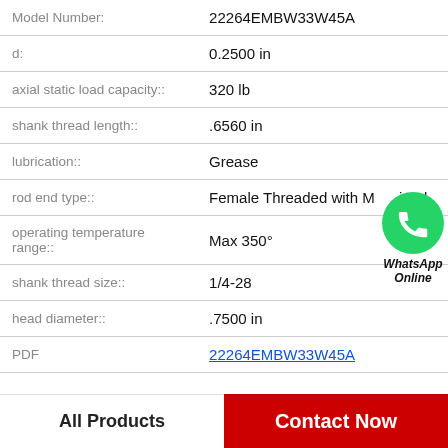| Property | Value |
| --- | --- |
| Model Number: | 22264EMBW33W45A |
| d: | 0.2500 in |
| axial static load capacity:: | 320 lb |
| shank thread length:: | .6560 in |
| lubrication:: | Grease |
| rod end type:: | Female Threaded with Machined |
| operating temperature range:: | Max 350° |
| shank thread size:: | 1/4-28 |
| head diameter:: | .7500 in |
| PDF | 22264EMBW33W45A |
[Figure (illustration): WhatsApp Online contact button with green phone icon]
All Products
Contact Now